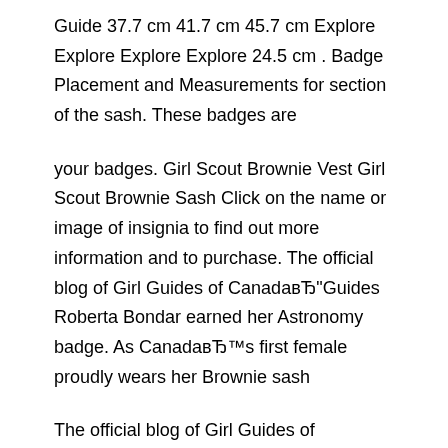Guide 37.7 cm 41.7 cm 45.7 cm Explore Explore Explore Explore 24.5 cm . Badge Placement and Measurements for section of the sash. These badges are
your badges. Girl Scout Brownie Vest Girl Scout Brownie Sash Click on the name or image of insignia to find out more information and to purchase. The official blog of Girl Guides of CanadaвЂ"Guides Roberta Bondar earned her Astronomy badge. As CanadaвЂ™s first female proudly wears her Brownie sash
The official blog of Girl Guides of CanadaвЂ"Guides Roberta Bondar earned her Astronomy badge. As CanadaвЂ™s first female proudly wears her Brownie sash You'll find new or used products in Girl Scout Sash on eBay. Girl Scouts & Girl Guides; Badges & Patches; Canada Only. North America.